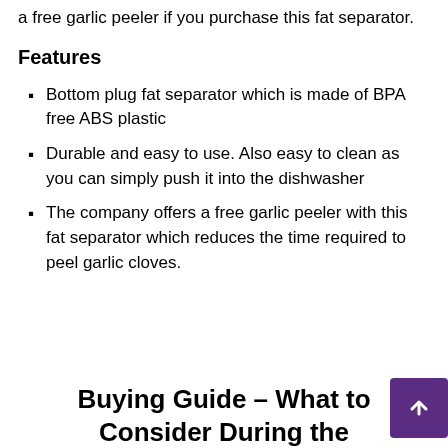a free garlic peeler if you purchase this fat separator.
Features
Bottom plug fat separator which is made of BPA free ABS plastic
Durable and easy to use. Also easy to clean as you can simply push it into the dishwasher
The company offers a free garlic peeler with this fat separator which reduces the time required to peel garlic cloves.
Buying Guide – What to Consider During the